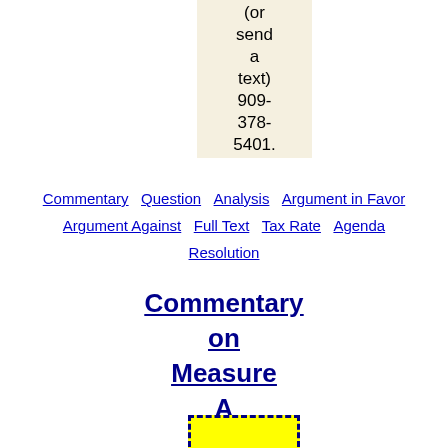(or send a text) 909-378-5401.
Commentary  Question  Analysis  Argument in Favor  Argument Against  Full Text  Tax Rate  Agenda  Resolution
Commentary on Measure A
[Figure (other): Yellow rectangle with dashed dark blue border]